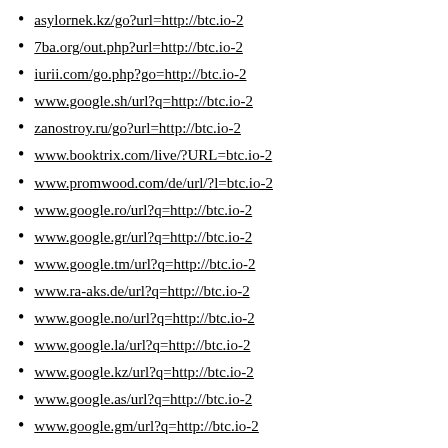asylornek.kz/go?url=http://btc.io-2
7ba.org/out.php?url=http://btc.io-2
iurii.com/go.php?go=http://btc.io-2
www.google.sh/url?q=http://btc.io-2
zanostroy.ru/go?url=http://btc.io-2
www.booktrix.com/live/?URL=btc.io-2
www.promwood.com/de/url/?l=btc.io-2
www.google.ro/url?q=http://btc.io-2
www.google.gr/url?q=http://btc.io-2
www.google.tm/url?q=http://btc.io-2
www.ra-aks.de/url?q=http://btc.io-2
www.google.no/url?q=http://btc.io-2
www.google.la/url?q=http://btc.io-2
www.google.kz/url?q=http://btc.io-2
www.google.as/url?q=http://btc.io-2
www.google.gm/url?q=http://btc.io-2
www.civicvoice.org.uk/?URL=btc.io-2
www.google.cd/url?q=http://btc.io-2
www.google.ru/url?q=http://btc.io-2